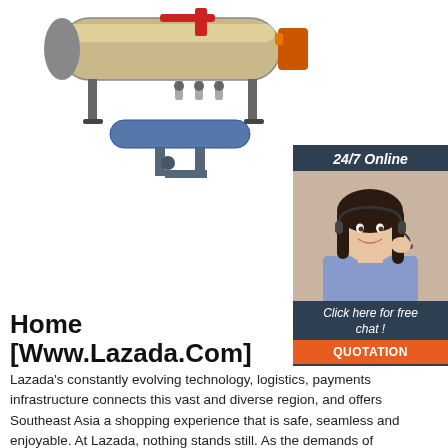[Figure (photo): Industrial boiler/steam generator equipment with pipes and valves, shown on white background]
[Figure (photo): 24/7 Online customer service sidebar with a female headset agent, 'Click here for free chat!' text, and orange QUOTATION button on dark navy background]
Home [Www.Lazada.Com]
Lazada's constantly evolving technology, logistics, payments infrastructure connects this vast and diverse region, and offers Southeast Asia a shopping experience that is safe, seamless and enjoyable. At Lazada, nothing stands still. As the demands of discerning shoppers and ambitious retailers continue to grow, we're always a few steps ahead.